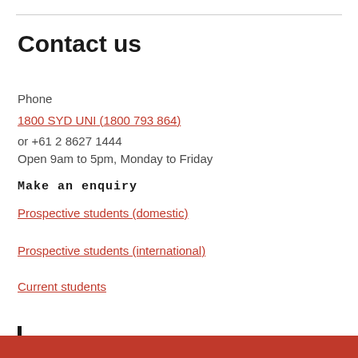Contact us
Phone
1800 SYD UNI (1800 793 864)
or +61 2 8627 1444
Open 9am to 5pm, Monday to Friday
Make an enquiry
Prospective students (domestic)
Prospective students (international)
Current students